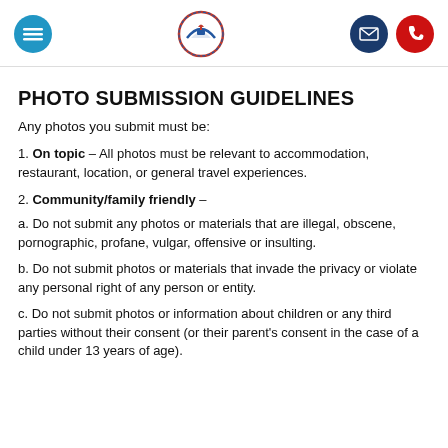[navigation header with menu, logo, email, phone buttons]
PHOTO SUBMISSION GUIDELINES
Any photos you submit must be:
1. On topic – All photos must be relevant to accommodation, restaurant, location, or general travel experiences.
2. Community/family friendly –
a. Do not submit any photos or materials that are illegal, obscene, pornographic, profane, vulgar, offensive or insulting.
b. Do not submit photos or materials that invade the privacy or violate any personal right of any person or entity.
c. Do not submit photos or information about children or any third parties without their consent (or their parent's consent in the case of a child under 13 years of age).